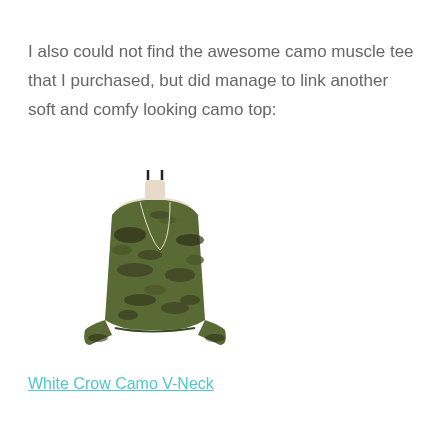I also could not find the awesome camo muscle tee that I purchased, but did manage to link another soft and comfy looking camo top:
[Figure (photo): A camo green long-sleeve V-neck top displayed on a mannequin torso against a white background.]
White Crow Camo V-Neck